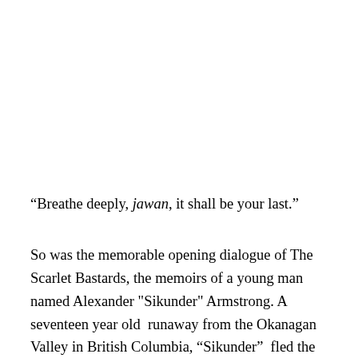“Breathe deeply, jawan, it shall be your last.”
So was the memorable opening dialogue of The Scarlet Bastards, the memoirs of a young man named Alexander "Sikunder" Armstrong. A seventeen year old  runaway from the Okanagan Valley in British Columbia, “Sikunder”  fled the tedium of a well planned life to the frigid dystopian wastes of the Serberor Campus on the distant colony of Samsāra some 20 light years from Earth. Here, as a jawan in the United Nations Off-World